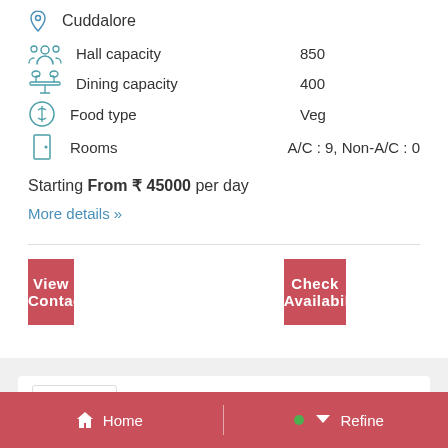Cuddalore
Hall capacity   850
Dining capacity   400
Food type   Veg
Rooms   A/C : 9, Non-A/C : 0
Starting From ₹ 45000 per day
More details »
View Contact
Check Availability
4 Photos
Home   Refine